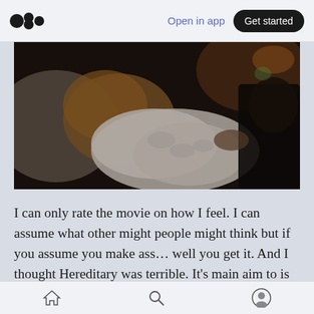Open in app  Get started
[Figure (photo): A dark, moody film still showing a child with blonde hair sleeping under a white fluffy blanket, being held by another person in what appears to be a bedroom scene.]
I can only rate the movie on how I feel. I can assume what other might people might think but if you assume you make ass… well you get it. And I thought Hereditary was terrible. It's main aim to is to scare you and when it doesn't have any idea what to do with itself it becomes the
Home  Search  Profile